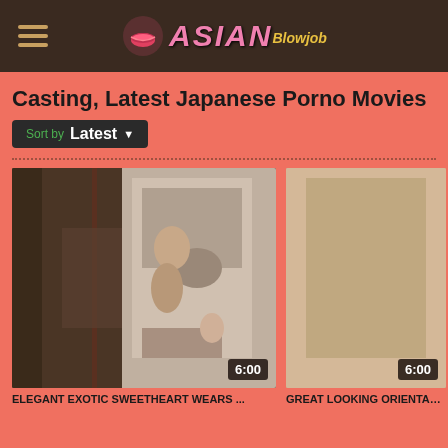Asian Blowjob - navigation header
Casting, Latest Japanese Porno Movies
Sort by Latest
[Figure (screenshot): Video thumbnail showing two people in a bathroom, duration badge 6:00]
ELEGANT EXOTIC SWEETHEART WEARS ...
[Figure (screenshot): Second video thumbnail placeholder with duration badge 6:00]
GREAT LOOKING ORIENTAL MINX IS REA...